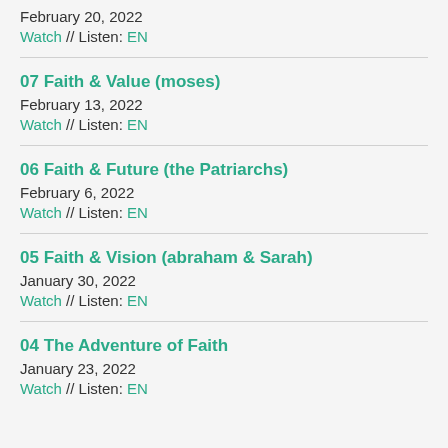February 20, 2022
Watch  //  Listen: EN
07 Faith & Value (moses)
February 13, 2022
Watch  //  Listen: EN
06 Faith & Future (the Patriarchs)
February 6, 2022
Watch  //  Listen: EN
05 Faith & Vision (abraham & Sarah)
January 30, 2022
Watch  //  Listen: EN
04 The Adventure of Faith
January 23, 2022
Watch  //  Listen: EN